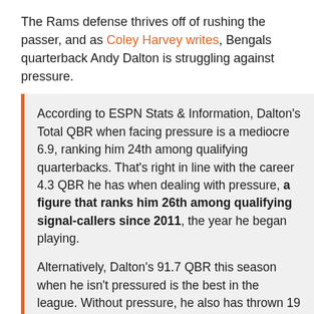The Rams defense thrives off of rushing the passer, and as Coley Harvey writes, Bengals quarterback Andy Dalton is struggling against pressure.
According to ESPN Stats & Information, Dalton's Total QBR when facing pressure is a mediocre 6.9, ranking him 24th among qualifying quarterbacks. That's right in line with the career 4.3 QBR he has when dealing with pressure, a figure that ranks him 26th among qualifying signal-callers since 2011, the year he began playing.
Alternatively, Dalton's 91.7 QBR this season when he isn't pressured is the best in the league. Without pressure, he also has thrown 19 of his 20 touchdown passes (he had 19 overall touchdown passes all last season), ranks fourth in passer rating (112.3) and eighth in completion percentage (70.9).